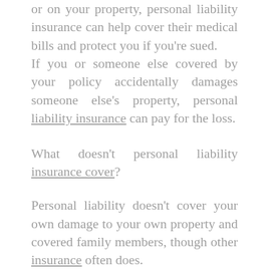or on your property, personal liability insurance can help cover their medical bills and protect you if you're sued. If you or someone else covered by your policy accidentally damages someone else's property, personal liability insurance can pay for the loss.
What doesn't personal liability insurance cover?
Personal liability doesn't cover your own damage to your own property and covered family members, though other insurance often does. If your spouse falls off a ladder, your health insurance will provide coverage. If you accidentally start a fire and cause damage in your kitchen, your homeowners or renters insurance will kick in. If you injure someone while driving, you'll file an auto insurance claim.